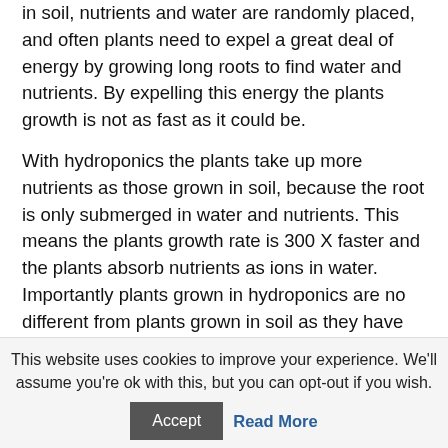in soil, nutrients and water are randomly placed, and often plants need to expel a great deal of energy by growing long roots to find water and nutrients. By expelling this energy the plants growth is not as fast as it could be.
With hydroponics the plants take up more nutrients as those grown in soil, because the root is only submerged in water and nutrients. This means the plants growth rate is 300 X faster and the plants absorb nutrients as ions in water.
Importantly plants grown in hydroponics are no different from plants grown in soil as they have the same physiology but more nutrients, grown at a faster rate and bigger size.
With Global demand soaring and capacity limited by access to
This website uses cookies to improve your experience. We'll assume you're ok with this, but you can opt-out if you wish.